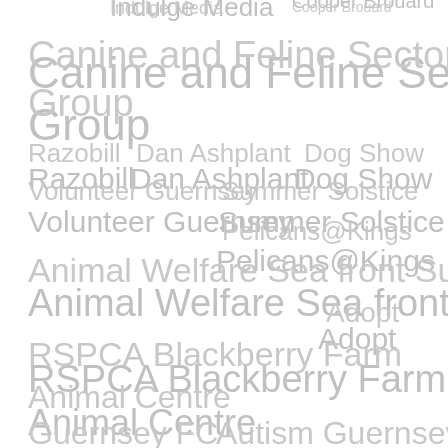[Figure (infographic): A word/tag cloud featuring various Guernsey-related organizations, events, and activities in different font sizes and shades of gray, including: Indulge Media, Cooper Brouard, Canine and Feline Sector Group, Razobill, Dan Ashplant, Dog Show, Volunteer Guernsey, Summer Solstice, Pelicans@Kings, Animal Welfare Sea front Sunday, Adopt, RSPCA Blackberry Farm, Animal Centre, Guernsey FC, Autism Guernsey, Fairtrade, Consultation Paper, Artist, Triathlon, Birthday Event, Guernsey Wildlife, Live Music, Cubs, Santa Paws Dog Walk, South Show]